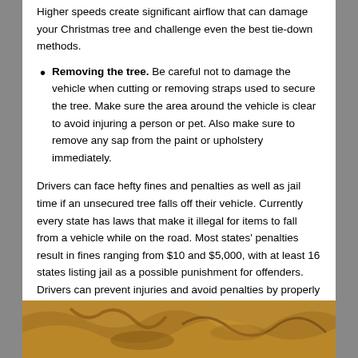Higher speeds create significant airflow that can damage your Christmas tree and challenge even the best tie-down methods.
Removing the tree. Be careful not to damage the vehicle when cutting or removing straps used to secure the tree. Make sure the area around the vehicle is clear to avoid injuring a person or pet. Also make sure to remove any sap from the paint or upholstery immediately.
Drivers can face hefty fines and penalties as well as jail time if an unsecured tree falls off their vehicle. Currently every state has laws that make it illegal for items to fall from a vehicle while on the road. Most states' penalties result in fines ranging from $10 and $5,000, with at least 16 states listing jail as a possible punishment for offenders. Drivers can prevent injuries and avoid penalties by properly securing their loads to prevent items from falling off the vehicle.
[Figure (photo): A photo of what appears to be tangled or twisted rope/straps on a dark surface, partially visible at the bottom of the page.]